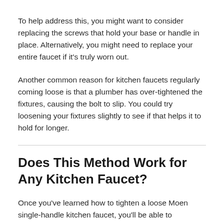To help address this, you might want to consider replacing the screws that hold your base or handle in place. Alternatively, you might need to replace your entire faucet if it's truly worn out.
Another common reason for kitchen faucets regularly coming loose is that a plumber has over-tightened the fixtures, causing the bolt to slip. You could try loosening your fixtures slightly to see if that helps it to hold for longer.
Does This Method Work for Any Kitchen Faucet?
Once you've learned how to tighten a loose Moen single-handle kitchen faucet, you'll be able to